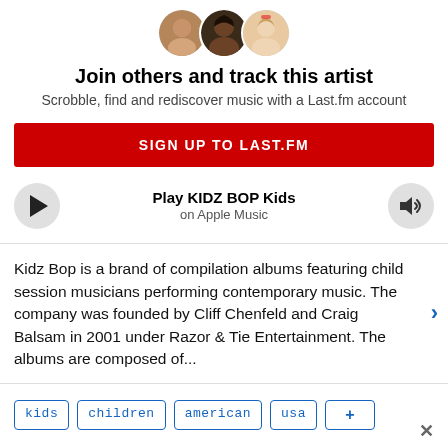[Figure (illustration): Three circular avatar profile photos of users, overlapping slightly]
Join others and track this artist
Scrobble, find and rediscover music with a Last.fm account
SIGN UP TO LAST.FM
Play KIDZ BOP Kids on Apple Music
Kidz Bop is a brand of compilation albums featuring child session musicians performing contemporary music. The company was founded by Cliff Chenfeld and Craig Balsam in 2001 under Razor & Tie Entertainment. The albums are composed of...
kids
children
american
usa
+